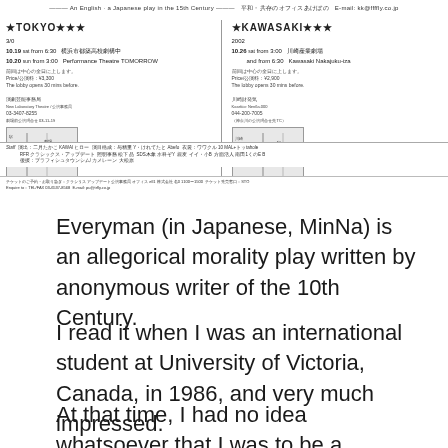[Figure (other): Japanese theatre flyer/poster for 'Everyman' (MinNa) performances in Tokyo and Kawasaki, October 2002. Contains venue names, dates, times, prices, maps, and staff credits in Japanese.]
Everyman (in Japanese, MinNa) is an allegorical morality play written by anonymous writer of the 10th Century.
I read it when I was an international student at University of Victoria, Canada, in 1986, and very much impressed.
At that time, I had no idea whatsoever that I was to be a theatre director. But in 2002, after I made